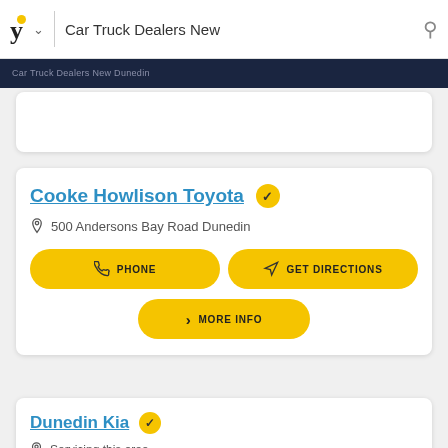Car Truck Dealers New
Cooke Howlison Toyota
500 Andersons Bay Road Dunedin
PHONE
GET DIRECTIONS
MORE INFO
Dunedin Kia
Servicing this area
PHONE
MORE INFO